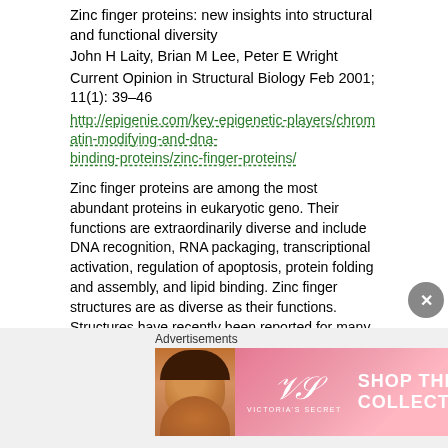Zinc finger proteins: new insights into structural and functional diversity
John H Laity, Brian M Lee, Peter E Wright
Current Opinion in Structural Biology Feb 2001; 11(1): 39–46
http://epigenie.com/key-epigenetic-players/chromatin-modifying-and-dna-binding-proteins/zinc-finger-proteins/
Zinc finger proteins are among the most abundant proteins in eukaryotic genomes. Their functions are extraordinarily diverse and include DNA recognition, RNA packaging, transcriptional activation, regulation of apoptosis, protein folding and assembly, and lipid binding. Zinc finger structures are as diverse as their functions. Structures have recently been reported for many new zinc finger domains with novel topologies, providing important insights into structure/function relationships. In addition, new structural studies of proteins containing the classical Cys2His2 zinc finger motif have led to novel insights into mechanisms of DNA binding and to a better understanding of their broader functions in transcriptional regulation.
Zinc Finger Proteins
Zinc finger (ZnF) proteins are a massive, diverse family of proteins that se
[Figure (other): Victoria's Secret advertisement banner with woman's face on left, VS logo in center, 'SHOP THE COLLECTION' text, and 'SHOP NOW' button on right. Label 'Advertisements' appears above.]